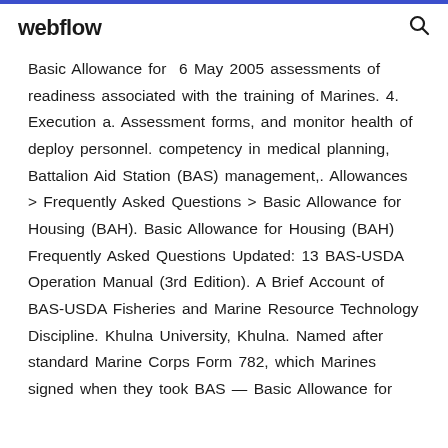webflow
Basic Allowance for  6 May 2005 assessments of readiness associated with the training of Marines. 4. Execution a. Assessment forms, and monitor health of deploy personnel. competency in medical planning, Battalion Aid Station (BAS) management,. Allowances > Frequently Asked Questions > Basic Allowance for Housing (BAH). Basic Allowance for Housing (BAH) Frequently Asked Questions Updated: 13 BAS-USDA Operation Manual (3rd Edition). A Brief Account of BAS-USDA Fisheries and Marine Resource Technology Discipline. Khulna University, Khulna. Named after standard Marine Corps Form 782, which Marines signed when they took BAS — Basic Allowance for